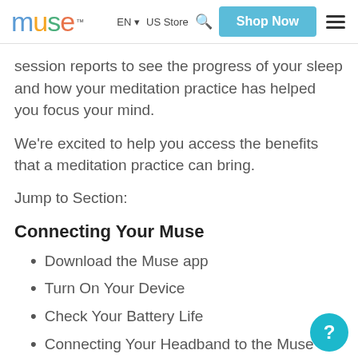muse™  EN  US Store  Shop Now
session reports to see the progress of your sleep and how your meditation practice has helped you focus your mind.
We're excited to help you access the benefits that a meditation practice can bring.
Jump to Section:
Connecting Your Muse
Download the Muse app
Turn On Your Device
Check Your Battery Life
Connecting Your Headband to the Muse App